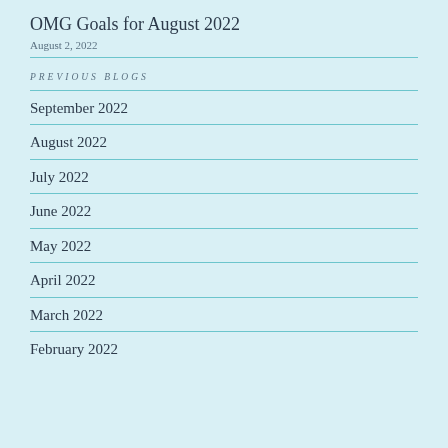OMG Goals for August 2022
August 2, 2022
PREVIOUS BLOGS
September 2022
August 2022
July 2022
June 2022
May 2022
April 2022
March 2022
February 2022